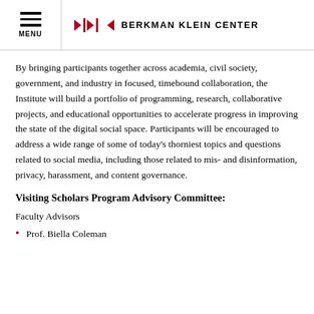MENU | BERKMAN KLEIN CENTER
By bringing participants together across academia, civil society, government, and industry in focused, timebound collaboration, the Institute will build a portfolio of programming, research, collaborative projects, and educational opportunities to accelerate progress in improving the state of the digital social space. Participants will be encouraged to address a wide range of some of today’s thorniest topics and questions related to social media, including those related to mis- and disinformation, privacy, harassment, and content governance.
Visiting Scholars Program Advisory Committee:
Faculty Advisors
Prof. Biella Coleman